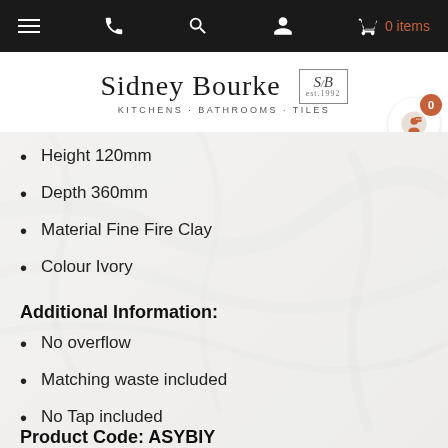Sidney Bourke KITCHENS · BATHROOMS · TILES
Height 120mm
Depth 360mm
Material Fine Fire Clay
Colour Ivory
Additional Information:
No overflow
Matching waste included
No Tap included
Product Code: ASYBIY